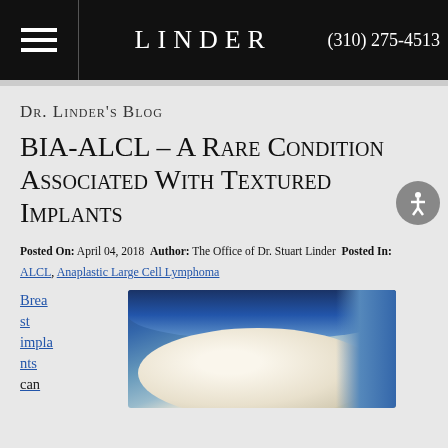LINDER | (310) 275-4513
Dr. Linder's Blog
BIA-ALCL – A Rare Condition Associated With Textured Implants
Posted On: April 04, 2018 Author: The Office of Dr. Stuart Linder Posted In:
ALCL, Anaplastic Large Cell Lymphoma
Breast implants can
[Figure (photo): Photo of breast implants on a blue background]